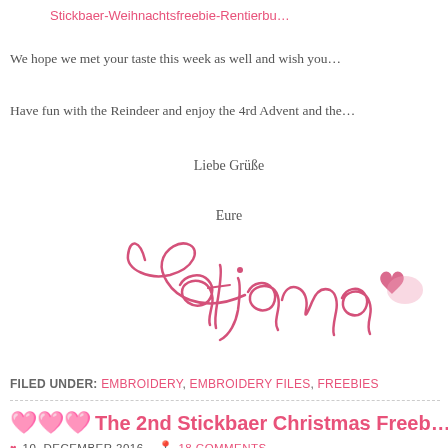Stickbaer-Weihnachtsfreebie-Rentierbu…
We hope we met your taste this week as well and wish you…
Have fun with the Reindeer and enjoy the 4rd Advent and the…
Liebe Grüße
Eure
[Figure (illustration): Handwritten pink cursive signature reading 'Tatjana' with a heart]
FILED UNDER: EMBROIDERY, EMBROIDERY FILES, FREEBIES
The 2nd Stickbaer Christmas Freeb…
10. DECEMBER 2016  18 COMMENTS
Isn't Christmas time the time of the and…